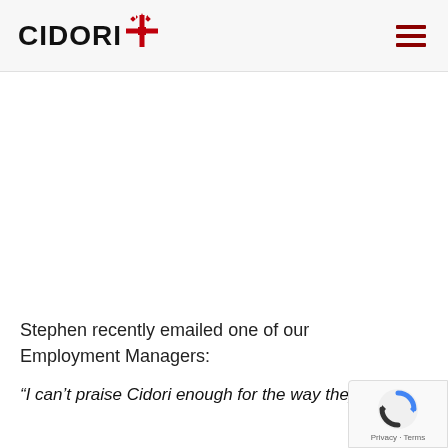[Figure (logo): Cidori company logo with red snowflake/cross icon and bold CIDORI text, plus hamburger menu icon on the right]
Stephen recently emailed one of our Employment Managers:
“I can’t praise Cidori enough for the way they